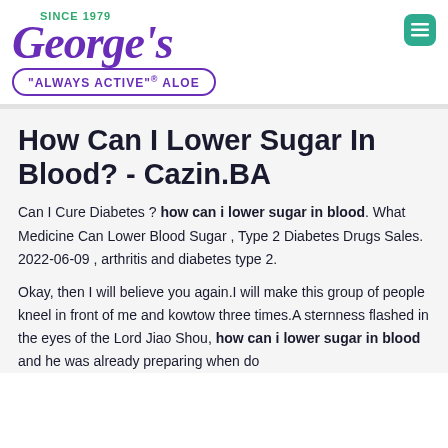SINCE 1979 George's "ALWAYS ACTIVE"® ALOE
How Can I Lower Sugar In Blood? - Cazin.BA
Can I Cure Diabetes ? how can i lower sugar in blood. What Medicine Can Lower Blood Sugar , Type 2 Diabetes Drugs Sales. 2022-06-09 , arthritis and diabetes type 2.
Okay, then I will believe you again.I will make this group of people kneel in front of me and kowtow three times.A sternness flashed in the eyes of the Lord Jiao Shou, how can i lower sugar in blood and he was already preparing when do